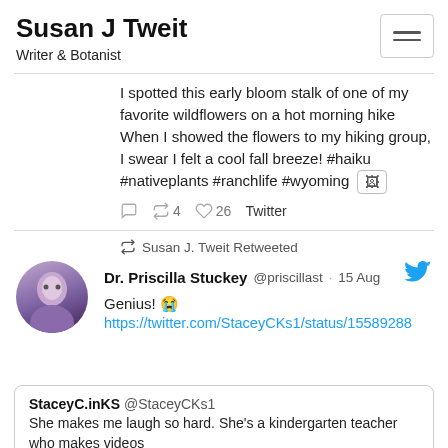Susan J Tweit
Writer & Botanist
I spotted this early bloom stalk of one of my favorite wildflowers on a hot morning hike When I showed the flowers to my hiking group, I swear I felt a cool fall breeze! #haiku #nativeplants #ranchlife #wyoming
4  26  Twitter
Susan J. Tweit Retweeted
Dr. Priscilla Stuckey  @priscillast  ·  15 Aug
Genius! 😭
https://twitter.com/StaceyCKs1/status/15589288
StaceyC.inKS  @StaceyCKs1
She makes me laugh so hard. She's a kindergarten teacher who makes videos